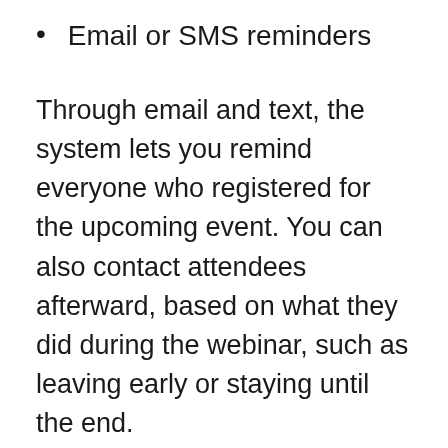Email or SMS reminders
Through email and text, the system lets you remind everyone who registered for the upcoming event. You can also contact attendees afterward, based on what they did during the webinar, such as leaving early or staying until the end.
You can set up both pre-webinar and post-webinar reminders so nobody misses your event.